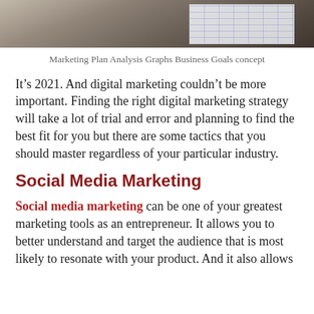[Figure (photo): Photo of hands working with marketing plan documents and spreadsheets/graphs on a desk]
Marketing Plan Analysis Graphs Business Goals concept
It’s 2021. And digital marketing couldn’t be more important. Finding the right digital marketing strategy will take a lot of trial and error and planning to find the best fit for you but there are some tactics that you should master regardless of your particular industry.
Social Media Marketing
Social media marketing can be one of your greatest marketing tools as an entrepreneur. It allows you to better understand and target the audience that is most likely to resonate with your product. And it also allows you to build your accessibility.